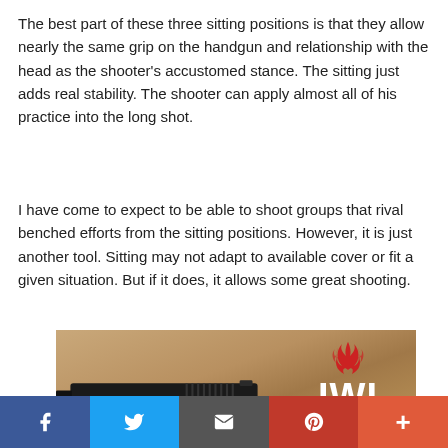The best part of these three sitting positions is that they allow nearly the same grip on the handgun and relationship with the head as the shooter’s accustomed stance. The sitting just adds real stability. The shooter can apply almost all of his practice into the long shot.
I have come to expect to be able to shoot groups that rival benched efforts from the sitting positions. However, it is just another tool. Sitting may not adapt to available cover or fit a given situation. But if it does, it allows some great shooting.
[Figure (photo): Advertisement banner for IWI (Israel Weapon Industries) showing a black handgun resting on sandy ground, with red flame logo and IWI text in white on the right side.]
[Figure (infographic): Social share bar with five buttons: Facebook (blue), Twitter (light blue), Email (dark grey), Pinterest (red), More (orange-red).]